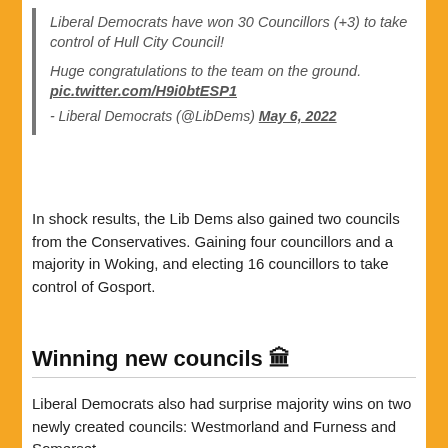Liberal Democrats have won 30 Councillors (+3) to take control of Hull City Council!
Huge congratulations to the team on the ground. pic.twitter.com/H9i0btESP1
- Liberal Democrats (@LibDems) May 6, 2022
In shock results, the Lib Dems also gained two councils from the Conservatives. Gaining four councillors and a majority in Woking, and electing 16 councillors to take control of Gosport.
Winning new councils 🏛
Liberal Democrats also had surprise majority wins on two newly created councils: Westmorland and Furness and Somerset.
In Somerset, we gained 37 councillors for a total of 61. Cllr Sarah Dyke even beat the Head of the Conservatives' dedicated anti-Lib Dem unit!
In Westmorland and Furness, we gained 13 seats for a total